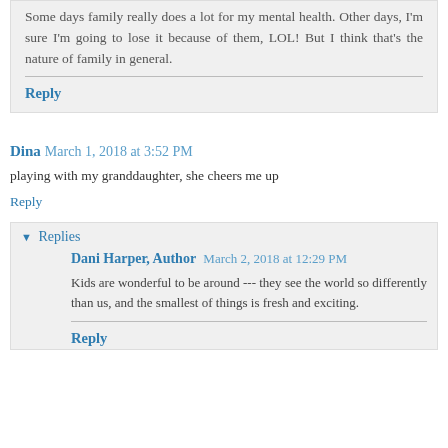Some days family really does a lot for my mental health. Other days, I'm sure I'm going to lose it because of them, LOL! But I think that's the nature of family in general.
Reply
Dina  March 1, 2018 at 3:52 PM
playing with my granddaughter, she cheers me up
Reply
Replies
Dani Harper, Author  March 2, 2018 at 12:29 PM
Kids are wonderful to be around --- they see the world so differently than us, and the smallest of things is fresh and exciting.
Reply